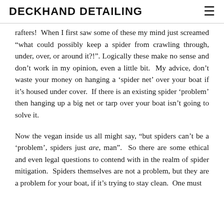DECKHAND DETAILING
rafters!  When I first saw some of these my mind just screamed “what could possibly keep a spider from crawling through, under, over, or around it?!”. Logically these make no sense and don’t work in my opinion, even a little bit.  My advice, don’t waste your money on hanging a ‘spider net’ over your boat if it’s housed under cover.  If there is an existing spider ‘problem’ then hanging up a big net or tarp over your boat isn’t going to solve it.
Now the vegan inside us all might say, “but spiders can’t be a ‘problem’, spiders just are, man”.  So there are some ethical and even legal questions to contend with in the realm of spider mitigation.  Spiders themselves are not a problem, but they are a problem for your boat, if it’s trying to stay clean.  One must